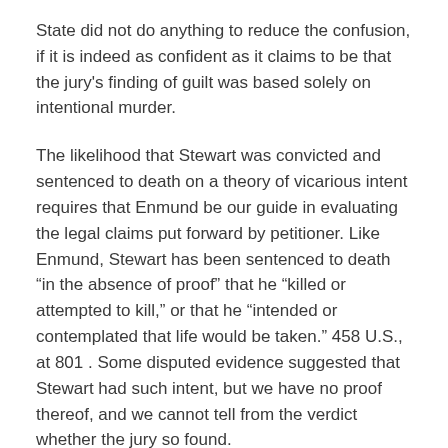State did not do anything to reduce the confusion, if it is indeed as confident as it claims to be that the jury's finding of guilt was based solely on intentional murder.
The likelihood that Stewart was convicted and sentenced to death on a theory of vicarious intent requires that Enmund be our guide in evaluating the legal claims put forward by petitioner. Like Enmund, Stewart has been sentenced to death "in the absence of proof" that he "killed or attempted to kill," or that he "intended or contemplated that life would be taken." 458 U.S., at 801 . Some disputed evidence suggested that Stewart had such intent, but we have no proof thereof, and we cannot tell from the verdict whether the jury so found.
V
Although this Court upheld the Texas capital sentencing scheme against certain challenges in Jurek v. Texas, 428